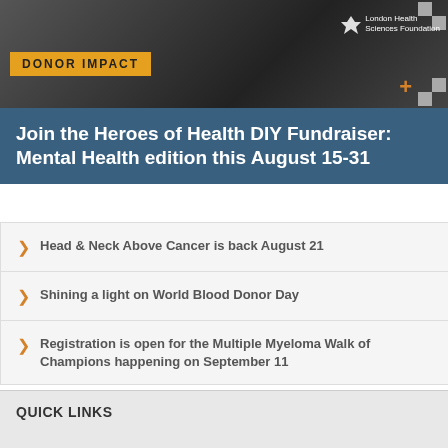[Figure (photo): Dark grayscale background header banner with London Health Sciences Foundation logo, checkerboard pattern decorative elements, and an orange plus sign accent]
DONOR IMPACT
Join the Heroes of Health DIY Fundraiser: Mental Health edition this August 15-31
Head & Neck Above Cancer is back August 21
Shining a light on World Blood Donor Day
Registration is open for the Multiple Myeloma Walk of Champions happening on September 11
QUICK LINKS